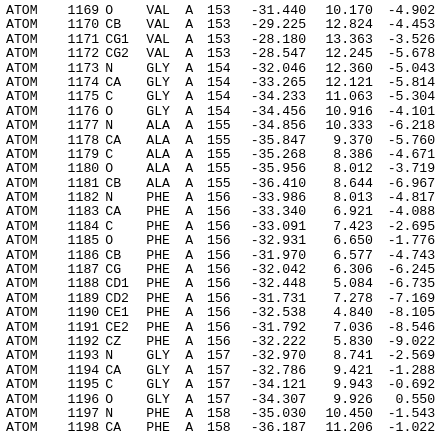| Record | Serial | Atom | Res | Ch | Seq | X | Y | Z |  |
| --- | --- | --- | --- | --- | --- | --- | --- | --- | --- |
| ATOM | 1169 | O | VAL | A | 153 | -31.440 | 10.170 | -4.902 |  |
| ATOM | 1170 | CB | VAL | A | 153 | -29.225 | 12.824 | -4.453 |  |
| ATOM | 1171 | CG1 | VAL | A | 153 | -28.180 | 13.363 | -3.526 |  |
| ATOM | 1172 | CG2 | VAL | A | 153 | -28.547 | 12.245 | -5.678 |  |
| ATOM | 1173 | N | GLY | A | 154 | -32.046 | 12.360 | -5.043 |  |
| ATOM | 1174 | CA | GLY | A | 154 | -33.265 | 12.121 | -5.814 |  |
| ATOM | 1175 | C | GLY | A | 154 | -34.233 | 11.063 | -5.304 |  |
| ATOM | 1176 | O | GLY | A | 154 | -34.456 | 10.916 | -4.101 |  |
| ATOM | 1177 | N | ALA | A | 155 | -34.856 | 10.333 | -6.218 |  |
| ATOM | 1178 | CA | ALA | A | 155 | -35.847 | 9.370 | -5.760 |  |
| ATOM | 1179 | C | ALA | A | 155 | -35.268 | 8.386 | -4.671 |  |
| ATOM | 1180 | O | ALA | A | 155 | -35.956 | 8.012 | -3.719 |  |
| ATOM | 1181 | CB | ALA | A | 155 | -36.410 | 8.644 | -6.967 |  |
| ATOM | 1182 | N | PHE | A | 156 | -33.986 | 8.013 | -4.817 |  |
| ATOM | 1183 | CA | PHE | A | 156 | -33.340 | 6.921 | -4.088 |  |
| ATOM | 1184 | C | PHE | A | 156 | -33.091 | 7.423 | -2.695 |  |
| ATOM | 1185 | O | PHE | A | 156 | -32.931 | 6.650 | -1.776 |  |
| ATOM | 1186 | CB | PHE | A | 156 | -31.970 | 6.577 | -4.743 |  |
| ATOM | 1187 | CG | PHE | A | 156 | -32.042 | 6.306 | -6.245 |  |
| ATOM | 1188 | CD1 | PHE | A | 156 | -32.448 | 5.084 | -6.735 |  |
| ATOM | 1189 | CD2 | PHE | A | 156 | -31.731 | 7.278 | -7.169 |  |
| ATOM | 1190 | CE1 | PHE | A | 156 | -32.538 | 4.840 | -8.105 |  |
| ATOM | 1191 | CE2 | PHE | A | 156 | -31.792 | 7.036 | -8.546 |  |
| ATOM | 1192 | CZ | PHE | A | 156 | -32.222 | 5.830 | -9.022 |  |
| ATOM | 1193 | N | GLY | A | 157 | -32.970 | 8.741 | -2.569 |  |
| ATOM | 1194 | CA | GLY | A | 157 | -32.786 | 9.421 | -1.288 |  |
| ATOM | 1195 | C | GLY | A | 157 | -34.121 | 9.943 | -0.692 |  |
| ATOM | 1196 | O | GLY | A | 157 | -34.307 | 9.926 | 0.550 |  |
| ATOM | 1197 | N | PHE | A | 158 | -35.030 | 10.450 | -1.543 |  |
| ATOM | 1198 | CA | PHE | A | 158 | -36.187 | 11.206 | -1.022 |  |